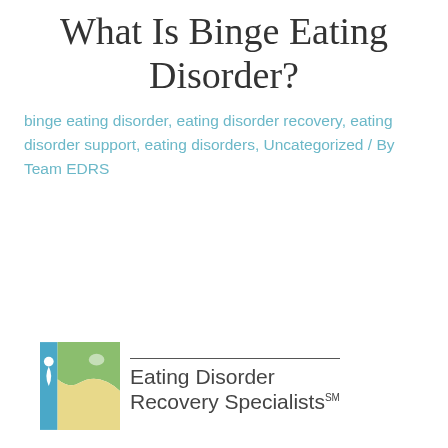What Is Binge Eating Disorder?
binge eating disorder, eating disorder recovery, eating disorder support, eating disorders, Uncategorized / By Team EDRS
[Figure (logo): Eating Disorder Recovery Specialists logo with stylized icon of a person and landscape in blue, green, and yellow, with the organization name to the right.]